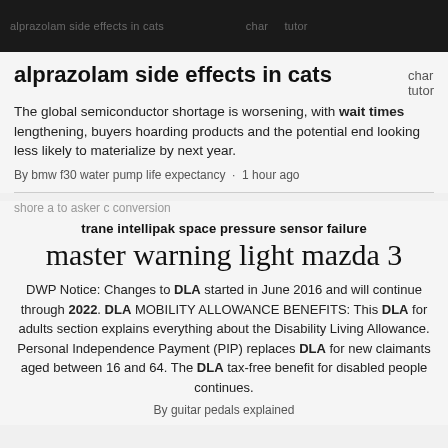alprazolam side effects in cats char tutor
alprazolam side effects in cats
The global semiconductor shortage is worsening, with wait times lengthening, buyers hoarding products and the potential end looking less likely to materialize by next year.
By bmw f30 water pump life expectancy · 1 hour ago
shore a to asker c conversion
trane intellipak space pressure sensor failure
master warning light mazda 3
DWP Notice: Changes to DLA started in June 2016 and will continue through 2022. DLA MOBILITY ALLOWANCE BENEFITS: This DLA for adults section explains everything about the Disability Living Allowance. Personal Independence Payment (PIP) replaces DLA for new claimants aged between 16 and 64. The DLA tax-free benefit for disabled people continues.
By guitar pedals explained